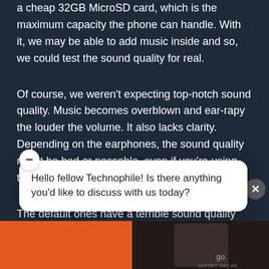a cheap 32GB MicroSD card, which is the maximum capacity the phone can handle. With it, we may be able to add music inside and so, we could test the sound quality for real.
Of course, we weren't expecting top-notch sound quality. Music becomes overblown and ear-rapy the louder the volume. It also lacks clarity. Depending on the earphones, the sound quality might be bad or passable, even if you're using the most expensive ones.
The default ones have a terrible sound quality and feel
[Figure (screenshot): Chat widget overlay with minus/collapse button showing text: Hello fellow Technophile! Is there anything you'd like to discuss with us today? Alongside an advertisement image block with orange and dark sections.]